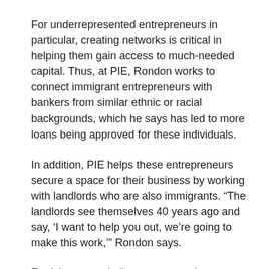For underrepresented entrepreneurs in particular, creating networks is critical in helping them gain access to much-needed capital. Thus, at PIE, Rondon works to connect immigrant entrepreneurs with bankers from similar ethnic or racial backgrounds, which he says has led to more loans being approved for these individuals.
In addition, PIE helps these entrepreneurs secure a space for their business by working with landlords who are also immigrants. “The landlords see themselves 40 years ago and say, ‘I want to help you out, we’re going to make this work,’” Rondon says.
Frerichs notes similar outcomes when women work with other women.